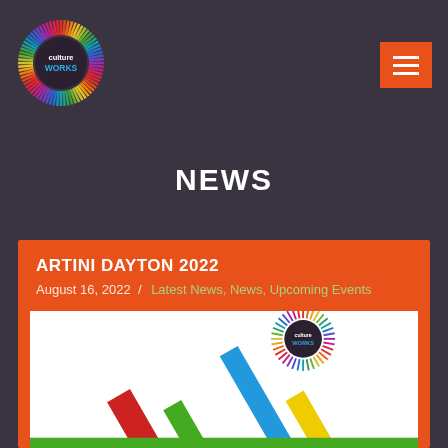[Figure (logo): CultureWorks logo — circular burst of multicolor rays around a dark circle with 'culture WORKS' text in white and blue]
[Figure (other): Orange hamburger menu button with three white horizontal lines]
NEWS
ARTINI DAYTON 2022
August 16, 2022  /  Latest News, News, Upcoming Events
[Figure (illustration): CultureWorks branded event graphic — white background with colorful diagonal bars (red, blue, green, yellow) and a CultureWorks logo circle in the upper right]